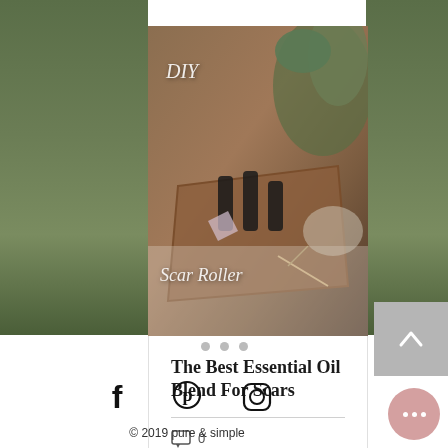[Figure (photo): Photo of essential oil roller bottles and botanicals on a wooden tray with a plant in the background. Overlaid text reads 'DIY' and 'Scar Roller' in italic white lettering.]
The Best Essential Oil Blend For Scars
0 comments
[Figure (infographic): Three navigation dots (carousel indicator)]
[Figure (infographic): Back to top button with upward chevron on grey background]
[Figure (infographic): Social media icons: Facebook, Pinterest, Instagram]
© 2019 pure & simple